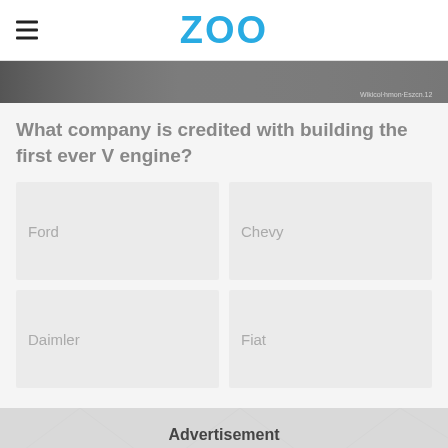ZOO
[Figure (photo): Dark greyscale photo strip, partially visible at top of content area]
What company is credited with building the first ever V engine?
Ford
Chevy
Daimler
Fiat
Advertisement